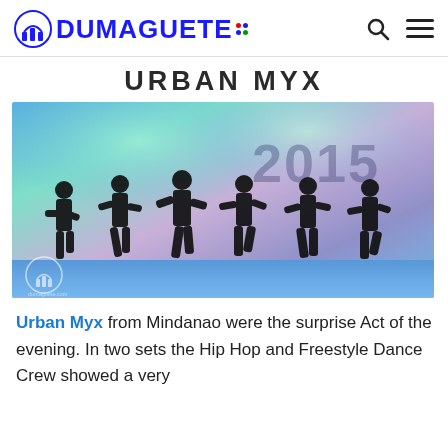DUMAGUETE
URBAN MYX
[Figure (photo): Dance crew performing on stage at an event marked 2015, six performers in black clothing doing hip hop / freestyle dance moves on a lit stage with blue and green lighting.]
Urban Myx from Mindanao were the surprise Act of the evening. In two sets the Hip Hop and Freestyle Dance Crew showed a very